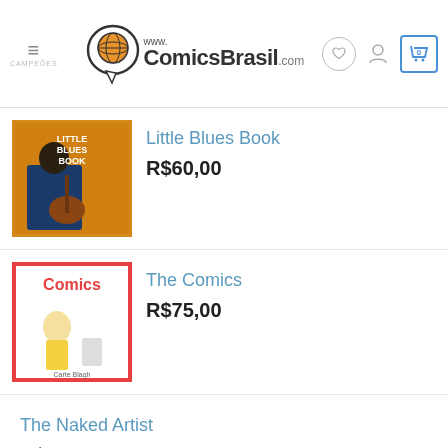www.ComicsBrasil.com
Little Blues Book — R$60,00
The Comics — R$75,00
The Naked Artist — R$45,00
Mr. Natural - R. Crumb Postcard Set — R$75,00
Cartoon County — R$75,00